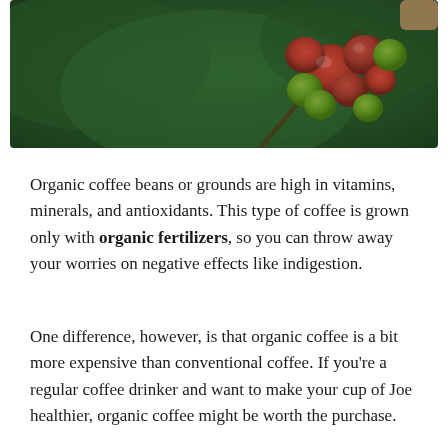[Figure (photo): Close-up photo of coffee berries/cherries on a branch, showing red and green fruits against a blurred green background]
Organic coffee beans or grounds are high in vitamins, minerals, and antioxidants. This type of coffee is grown only with organic fertilizers, so you can throw away your worries on negative effects like indigestion.
One difference, however, is that organic coffee is a bit more expensive than conventional coffee. If you're a regular coffee drinker and want to make your cup of Joe healthier, organic coffee might be worth the purchase.